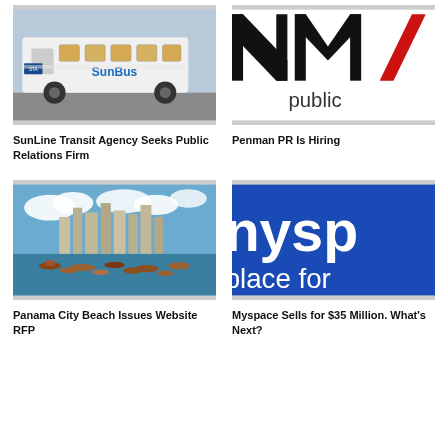[Figure (photo): SunLine Transit Agency bus (SunBus) in a parking lot]
SunLine Transit Agency Seeks Public Relations Firm
[Figure (logo): NIMA public relations logo (partial, cropped)]
Penman PR Is Hiring
[Figure (photo): Panama City Beach skyline with boats in the harbor]
Panama City Beach Issues Website RFP
[Figure (logo): Myspace logo on blue background with text 'nysp a place for' (cropped)]
Myspace Sells for $35 Million. What's Next?